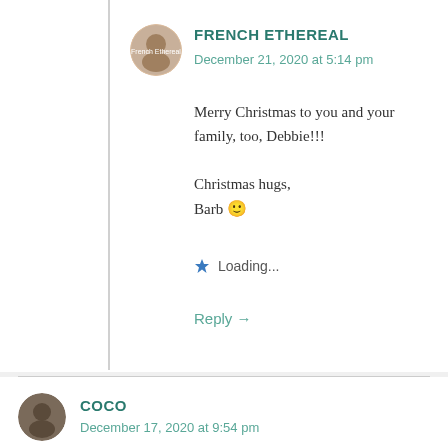[Figure (illustration): Round avatar image for French Ethereal commenter with decorative logo]
FRENCH ETHEREAL
December 21, 2020 at 5:14 pm
Merry Christmas to you and your family, too, Debbie!!!
Christmas hugs,
Barb 🙂
Loading...
Reply →
[Figure (photo): Round avatar image for Coco commenter]
COCO
December 17, 2020 at 9:54 pm